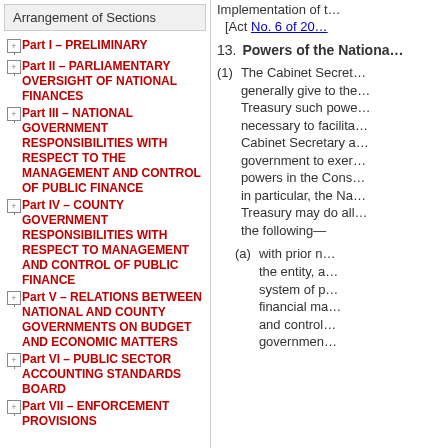Arrangement of Sections
Part I – PRELIMINARY
Part II – PARLIAMENTARY OVERSIGHT OF NATIONAL FINANCES
Part III – NATIONAL GOVERNMENT RESPONSIBILITIES WITH RESPECT TO THE MANAGEMENT AND CONTROL OF PUBLIC FINANCE
Part IV – COUNTY GOVERNMENT RESPONSIBILITIES WITH RESPECT TO MANAGEMENT AND CONTROL OF PUBLIC FINANCE
Part V – RELATIONS BETWEEN NATIONAL AND COUNTY GOVERNMENTS ON BUDGET AND ECONOMIC MATTERS
Part VI – PUBLIC SECTOR ACCOUNTING STANDARDS BOARD
Part VII – ENFORCEMENT PROVISIONS
Implementation of t…
[Act No. 6 of 20…]
13. Powers of the Nationa…
(1) The Cabinet Secret… generally give to the… Treasury such powe… necessary to facilita… Cabinet Secretary a… government to exer… powers in the Cons… in particular, the Na… Treasury may do al… the following—
(a) with prior n… the entity, a… system of p… financial ma… and control… governmen…